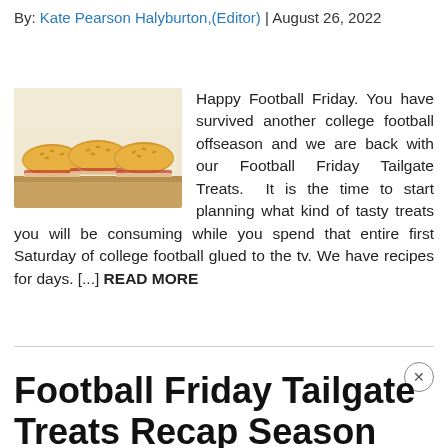By: Kate Pearson Halyburton,(Editor) | August 26, 2022
[Figure (photo): Photo of three golden-brown slider sandwiches with sesame seeds on top, arranged in a row on a wooden board, with fillings visible.]
Happy Football Friday. You have survived another college football offseason and we are back with our Football Friday Tailgate Treats. It is the time to start planning what kind of tasty treats you will be consuming while you spend that entire first Saturday of college football glued to the tv. We have recipes for days. [...] READ MORE
Football Friday Tailgate Treats Recap Season One Part